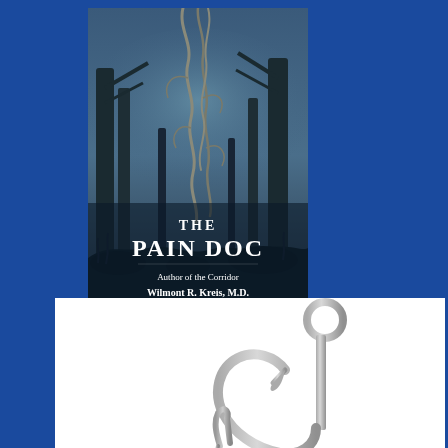[Figure (illustration): Book cover of 'The Pain Doc' by Wilmont R. Kreis, M.D. Dark misty forest background with twisted vines/roots hanging from trees. Title text reads 'THE PAIN DOC' in white serif font. Subtitle: 'Author of the Corridor'. Author: 'Wilmont R. Kreis, M.D.']
[Figure (illustration): Illustration of a fishing hook (or surgical hook) shown on white background. The hook is metallic gray/silver, showing a large hook with an eye at the top and a sharp barbed point at the bottom left. A smaller pointed spike is also visible.]